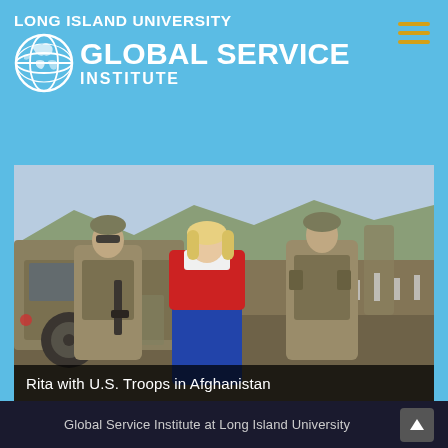LONG ISLAND UNIVERSITY GLOBAL SERVICE INSTITUTE
[Figure (photo): A woman in a red jacket and jeans stands between two U.S. soldiers in desert camouflage uniforms, posing in front of a military Humvee in Afghanistan. Rocky terrain and target range markers are visible in the background.]
Rita with U.S. Troops in Afghanistan
Global Service Institute at Long Island University